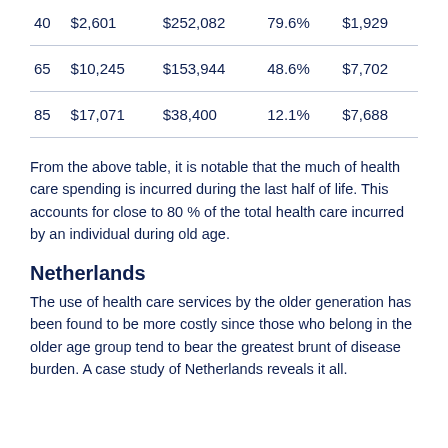| 40 | $2,601 | $252,082 | 79.6% | $1,929 |
| 65 | $10,245 | $153,944 | 48.6% | $7,702 |
| 85 | $17,071 | $38,400 | 12.1% | $7,688 |
From the above table, it is notable that the much of health care spending is incurred during the last half of life. This accounts for close to 80 % of the total health care incurred by an individual during old age.
Netherlands
The use of health care services by the older generation has been found to be more costly since those who belong in the older age group tend to bear the greatest brunt of disease burden. A case study of Netherlands reveals it all.